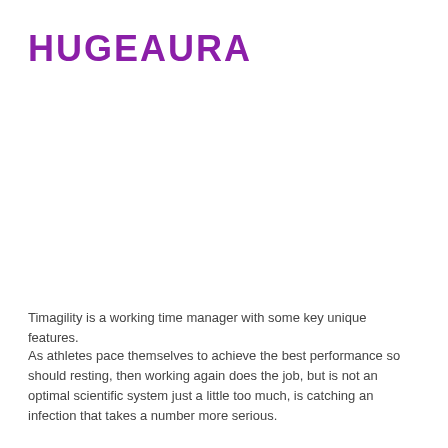HUGEAURA
Timagility is a working time manager with some key unique features.
As athletes pace themselves to achieve the best performance so should resting, then working again does the job, but is not an optimal scientific system just a little too much, is catching an infection that takes a number more serious.